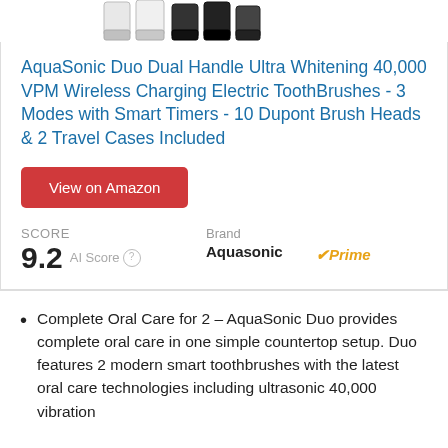[Figure (photo): Partial top image showing brush heads/tips of AquaSonic electric toothbrushes, some white and some black, cropped at top of page]
AquaSonic Duo Dual Handle Ultra Whitening 40,000 VPM Wireless Charging Electric ToothBrushes - 3 Modes with Smart Timers - 10 Dupont Brush Heads & 2 Travel Cases Included
View on Amazon
SCORE
9.2 AI Score
Brand
Aquasonic
Prime
Complete Oral Care for 2 – AquaSonic Duo provides complete oral care in one simple countertop setup. Duo features 2 modern smart toothbrushes with the latest oral care technologies including ultrasonic 40,000 vibration